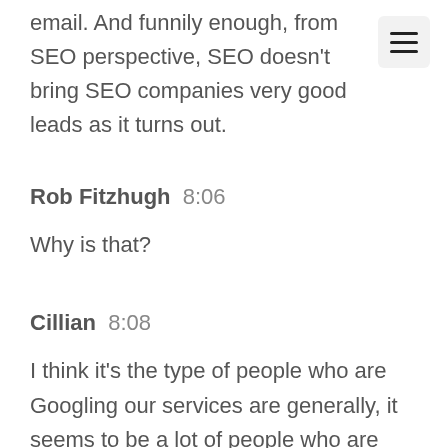email. And funnily enough, from SEO perspective, SEO doesn't bring SEO companies very good leads as it turns out.
Rob Fitzhugh  8:06
Why is that?
Cillian  8:08
I think it's the type of people who are Googling our services are generally, it seems to be a lot of people who are have